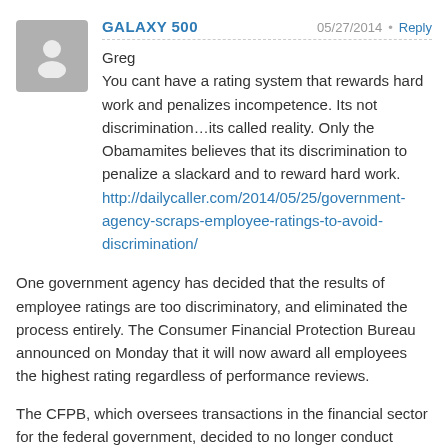GALAXY 500 — 05/27/2014 • Reply
Greg
You cant have a rating system that rewards hard work and penalizes incompetence. Its not discrimination…its called reality. Only the Obamamites believes that its discrimination to penalize a slackard and to reward hard work.
http://dailycaller.com/2014/05/25/government-agency-scraps-employee-ratings-to-avoid-discrimination/
One government agency has decided that the results of employee ratings are too discriminatory, and eliminated the process entirely. The Consumer Financial Protection Bureau announced on Monday that it will now award all employees the highest rating regardless of performance reviews.
The CFPB, which oversees transactions in the financial sector for the federal government, decided to no longer conduct employee reviews because there were just too many apparent “significant disparities” between the races, ages, and locations of its employees.